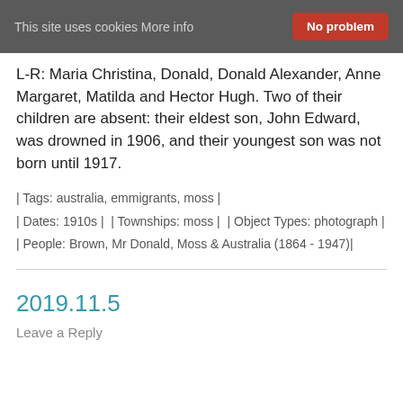This site uses cookies More info   No problem
L-R: Maria Christina, Donald, Donald Alexander, Anne Margaret, Matilda and Hector Hugh. Two of their children are absent: their eldest son, John Edward, was drowned in 1906, and their youngest son was not born until 1917.
| Tags: australia, emmigrants, moss|
| Dates: 1910s |  | Townships: moss |  | Object Types: photograph|
| People: Brown, Mr Donald, Moss & Australia (1864 - 1947)|
2019.11.5
Leave a Reply